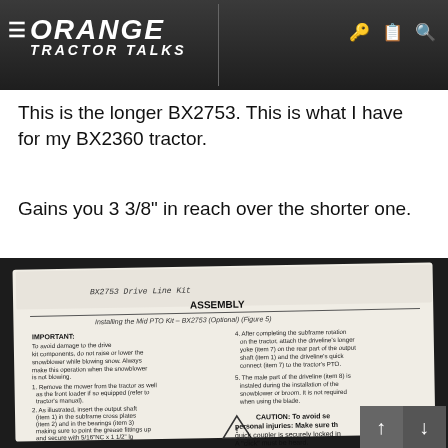Orange Tractor Talks — page 11
This is the longer BX2753. This is what I have for my BX2360 tractor.
Gains you 3 3/8" in reach over the shorter one.
[Figure (photo): Photo of a Kubota BX2753 drive line kit assembly instruction page with handwritten annotation 'BX2753 Drive Line Kit'. The page shows ASSEMBLY instructions titled 'Installing the Mid PTO Kit – BX2753 (Optional) (Figure 5)' with an IMPORTANT warning and numbered steps. A CAUTION triangle warning about personal injuries and quick coupler locking is also visible.]